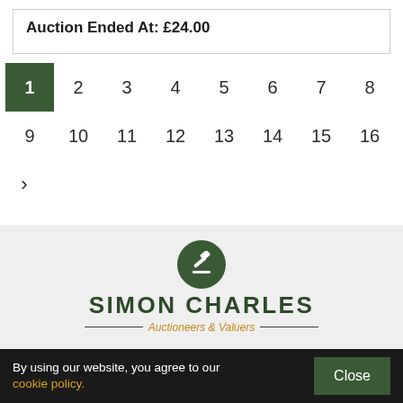Auction Ended At: £24.00
1 2 3 4 5 6 7 8 9 10 11 12 13 14 15 16 ›
[Figure (logo): Simon Charles Auctioneers & Valuers logo with gavel icon in dark green circle]
By using our website, you agree to our cookie policy.